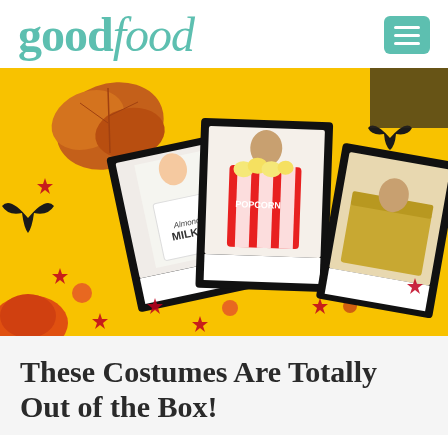goodfood
[Figure (photo): Halloween-themed hero image showing three Polaroid-style photos on a bright yellow background with autumn leaves, bat silhouettes, candy, and red star confetti. Left photo: woman in white dress with 'Almond MILK' carton costume. Center photo: boy holding a red-and-white striped 'POPCORN' box costume. Right photo: toddler inside a golden cardboard box costume.]
These Costumes Are Totally Out of the Box!